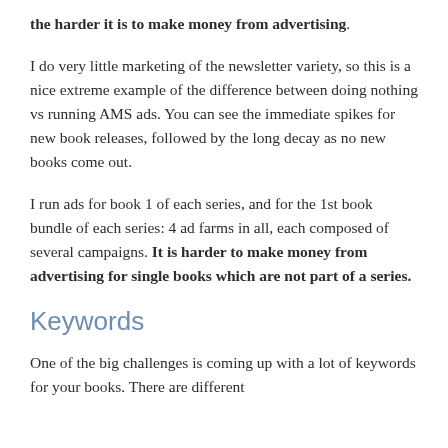the harder it is to make money from advertising.
I do very little marketing of the newsletter variety, so this is a nice extreme example of the difference between doing nothing vs running AMS ads. You can see the immediate spikes for new book releases, followed by the long decay as no new books come out.
I run ads for book 1 of each series, and for the 1st book bundle of each series: 4 ad farms in all, each composed of several campaigns. It is harder to make money from advertising for single books which are not part of a series.
Keywords
One of the big challenges is coming up with a lot of keywords for your books. There are different